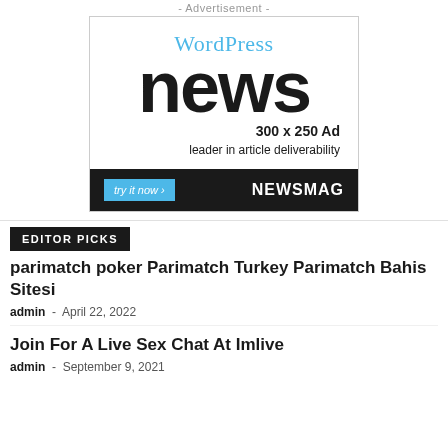- Advertisement -
[Figure (illustration): WordPress news 300x250 Ad banner with 'try it now >' button and NEWSMAG branding on dark footer]
EDITOR PICKS
parimatch poker Parimatch Turkey Parimatch Bahis Sitesi
admin - April 22, 2022
Join For A Live Sex Chat At Imlive
admin - September 9, 2021